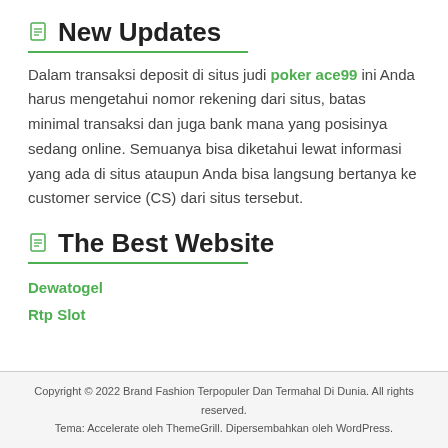New Updates
Dalam transaksi deposit di situs judi poker ace99 ini Anda harus mengetahui nomor rekening dari situs, batas minimal transaksi dan juga bank mana yang posisinya sedang online. Semuanya bisa diketahui lewat informasi yang ada di situs ataupun Anda bisa langsung bertanya ke customer service (CS) dari situs tersebut.
The Best Website
Dewatogel
Rtp Slot
Copyright © 2022 Brand Fashion Terpopuler Dan Termahal Di Dunia. All rights reserved.
Tema: Accelerate oleh ThemeGrill. Dipersembahkan oleh WordPress.